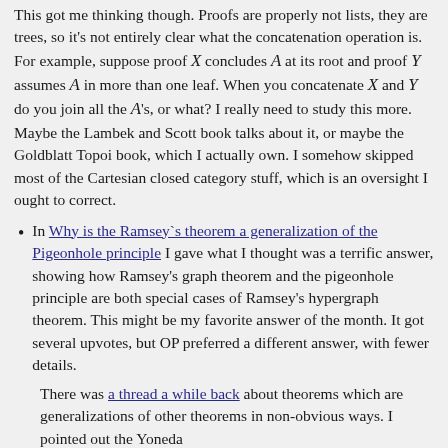This got me thinking though. Proofs are properly not lists, they are trees, so it's not entirely clear what the concatenation operation is. For example, suppose proof X concludes A at its root and proof Y assumes A in more than one leaf. When you concatenate X and Y do you join all the A's, or what? I really need to study this more. Maybe the Lambek and Scott book talks about it, or maybe the Goldblatt Topoi book, which I actually own. I somehow skipped most of the Cartesian closed category stuff, which is an oversight I ought to correct.
In Why is the Ramsey`s theorem a generalization of the Pigeonhole principle I gave what I thought was a terrific answer, showing how Ramsey's graph theorem and the pigeonhole principle are both special cases of Ramsey's hypergraph theorem. This might be my favorite answer of the month. It got several upvotes, but OP preferred a different answer, with fewer details.
There was a thread a while back about theorems which are generalizations of other theorems in non-obvious ways. I pointed out the Yoneda